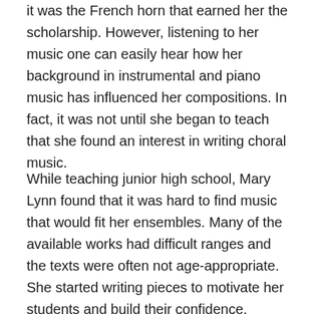it was the French horn that earned her the scholarship. However, listening to her music one can easily hear how her background in instrumental and piano music has influenced her compositions. In fact, it was not until she began to teach that she found an interest in writing choral music.
While teaching junior high school, Mary Lynn found that it was hard to find music that would fit her ensembles. Many of the available works had difficult ranges and the texts were often not age-appropriate. She started writing pieces to motivate her students and build their confidence.